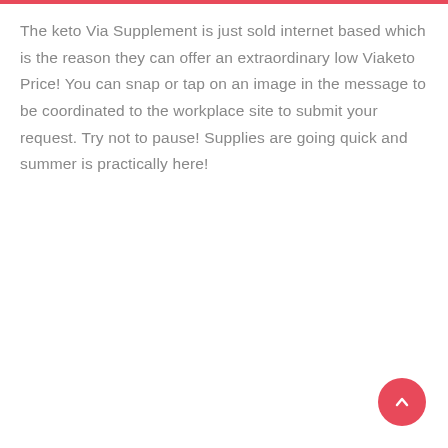The keto Via Supplement is just sold internet based which is the reason they can offer an extraordinary low Viaketo Price! You can snap or tap on an image in the message to be coordinated to the workplace site to submit your request. Try not to pause! Supplies are going quick and summer is practically here!